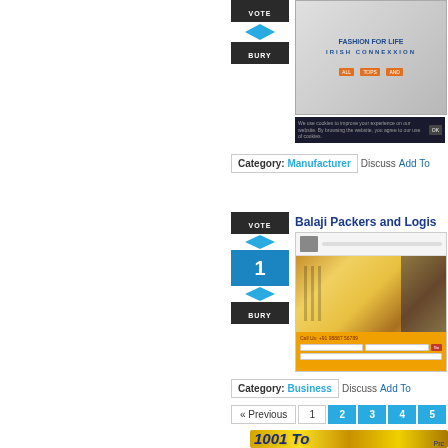[Figure (screenshot): Vote widget showing VOTE / diamond / BURY buttons (top, partially cut off)]
[Figure (screenshot): Fashion For Life Irish Connexxion clothing advertisement banner]
[Figure (screenshot): Cookie consent bar]
Category: Manufacturer   Discuss   Add To
[Figure (screenshot): Vote widget showing VOTE / 1 / BURY for Balaji Packers listing]
Balaji Packers and Logis...
[Figure (screenshot): Screenshot of Balaji Packers and Logistics website with shipping containers image and contact form]
Ba... a... pr... Mo...
Category: Business   Discuss   Add To
« Previous   1   2   3   4   5   6
[Figure (logo): 1001 To... Pro... golden logo banner at bottom]